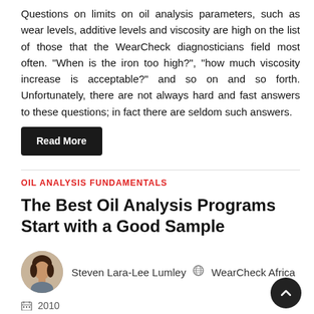Questions on limits on oil analysis parameters, such as wear levels, additive levels and viscosity are high on the list of those that the WearCheck diagnosticians field most often. “When is the iron too high?”, “how much viscosity increase is acceptable?” and so on and so forth. Unfortunately, there are not always hard and fast answers to these questions; in fact there are seldom such answers.
Read More
OIL ANALYSIS FUNDAMENTALS
The Best Oil Analysis Programs Start with a Good Sample
Steven Lara-Lee Lumley   WearCheck Africa
2010